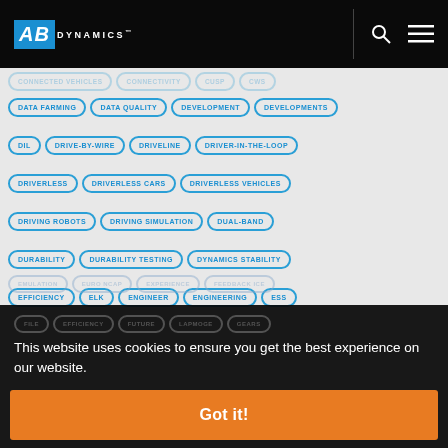AB Dynamics
DATA FARMING
DATA QUALITY
DEVELOPMENT
DEVELOPMENTS
DIL
DRIVE-BY-WIRE
DRIVELINE
DRIVER-IN-THE-LOOP
DRIVERLESS
DRIVERLESS CARS
DRIVERLESS VEHICLES
DRIVING ROBOTS
DRIVING SIMULATION
DUAL-BAND
DURABILITY
DURABILITY TESTING
DYNAMICS STABILITY
EFFICIENCY
ELK
ENGINEER
ENGINEERING
ESS
This website uses cookies to ensure you get the best experience on our website.
Learn More
Got it!